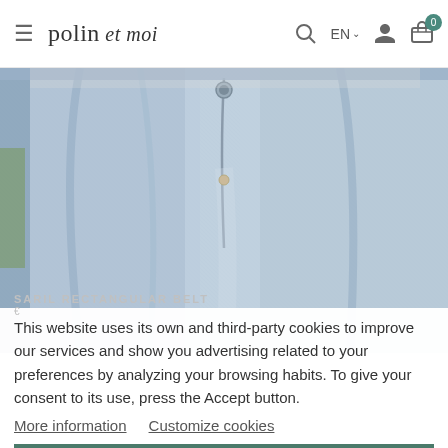polin et moi — navigation bar with hamburger menu, logo, search, EN language selector, account icon, cart icon with badge 0
[Figure (photo): Close-up photo of a person wearing light blue denim jeans, showing the waist and upper leg area with button and zipper detail]
SARIL RECTANGULAR BELT
This website uses its own and third-party cookies to improve our services and show you advertising related to your preferences by analyzing your browsing habits. To give your consent to its use, press the Accept button.
More information   Customize cookies
I ACCEPT